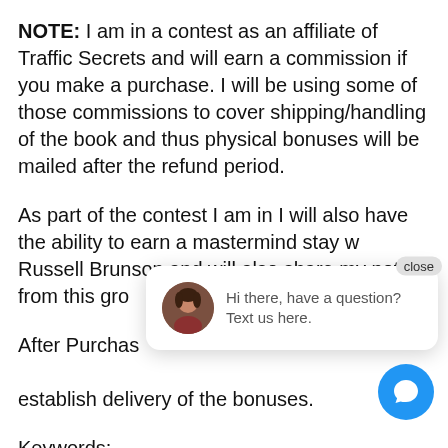NOTE: I am in a contest as an affiliate of Traffic Secrets and will earn a commission if you make a purchase. I will be using some of those commissions to cover shipping/handling of the book and thus physical bonuses will be mailed after the refund period.
As part of the contest I am in I will also have the ability to earn a mastermind stay with Russell Brunson and will also share my notes from this gro
[Figure (screenshot): Chat popup with avatar of a woman and text: 'Hi there, have a question? Text us here.' with a close button.]
After Purchas establish delivery of the bonuses.
Keywords:
Russell Brunson Traffic Secrets